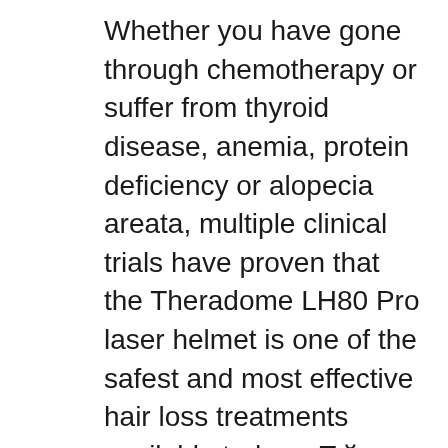Whether you have gone through chemotherapy or suffer from thyroid disease, anemia, protein deficiency or alopecia areata, multiple clinical trials have proven that the Theradome LH80 Pro laser helmet is one of the safest and most effective hair loss treatments available today. вЂў Rogaine may stimulate hair growth, but you have to use it at least twice a day and for at least six months to see any results, says George Cotsarelis, M.D., a professor of dermatology at the
20/12/2016В В· 2 ways to use aloe vera oil for massive hair growth Homemade aloe vera oil/ leave in conditioner - Duration: 17:33. Mercy Gono BSN, RN